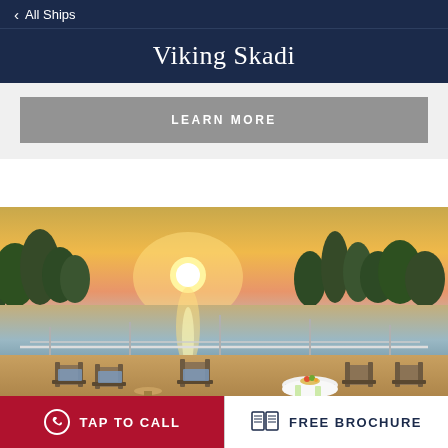← All Ships
Viking Skadi
LEARN MORE
[Figure (photo): Sunset view from the deck of a river cruise ship, showing lounge chairs and a table on the bow deck with a calm river and treeline in the background bathed in golden hour light.]
TAP TO CALL
FREE BROCHURE